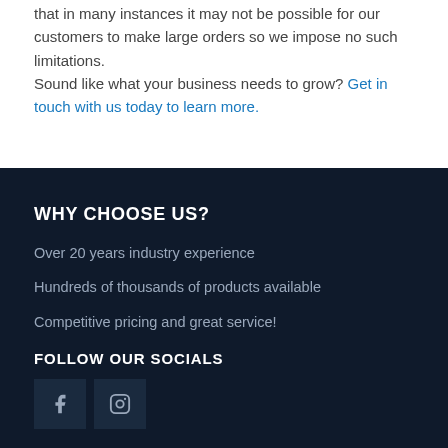that in many instances it may not be possible for our customers to make large orders so we impose no such limitations.
Sound like what your business needs to grow? Get in touch with us today to learn more.
WHY CHOOSE US?
Over 20 years industry experience
Hundreds of thousands of products available
Competitive pricing and great service!
FOLLOW OUR SOCIALS
[Figure (other): Facebook and Instagram social media icon buttons]